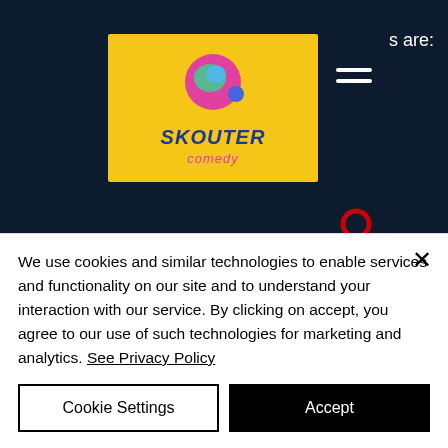[Figure (logo): Skouter Comedy logo on yellow background with a pink spherical character and blue/green planet, text reads SKOUTER comedy]
s are:
and burn fat simultaneously is to take specific steroids which have anabolic AND fat burning properties.

While these steroids can potentially help to increase your muscle and fat mass in a short
We use cookies and similar technologies to enable services and functionality on our site and to understand your interaction with our service. By clicking on accept, you agree to our use of such technologies for marketing and analytics. See Privacy Policy
Cookie Settings
Accept